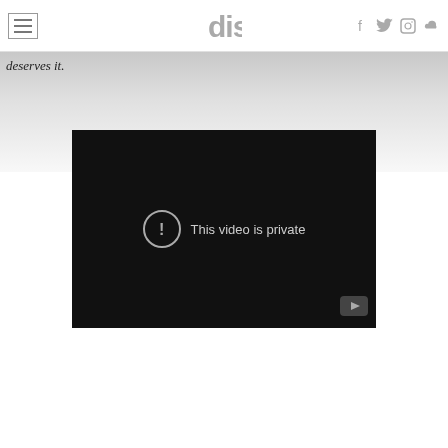dis — navigation header with hamburger menu, logo, and social icons
deserves it.
[Figure (screenshot): Embedded YouTube video player showing 'This video is private' message with a circle-exclamation icon and YouTube play button logo in bottom right corner.]